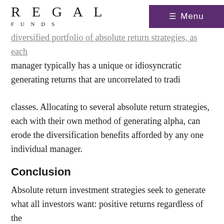REGAL FUNDS
diversified portfolio of absolute return strategies, as each manager typically has a unique or idiosyncratic generating returns that are uncorrelated to traditional asset classes. Allocating to several absolute return strategies, each with their own method of generating alpha, can erode the diversification benefits afforded by any one individual manager.
Conclusion
Absolute return investment strategies seek to generate what all investors want: positive returns regardless of the movement in traditional asset classes. A good absolute return manager will be able to demonstrate a track record